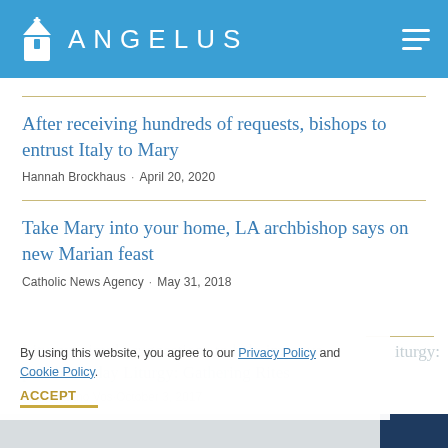ANGELUS
After receiving hundreds of requests, bishops to entrust Italy to Mary
Hannah Brockhaus · April 20, 2020
Take Mary into your home, LA archbishop says on new Marian feast
Catholic News Agency · May 31, 2018
Liturgy: simple suggestions to help improve parish Sunday Liturgy: Gathering Rites
Joan Patano Vos · October 3, 2017
By using this website, you agree to our Privacy Policy and Cookie Policy.
ACCEPT